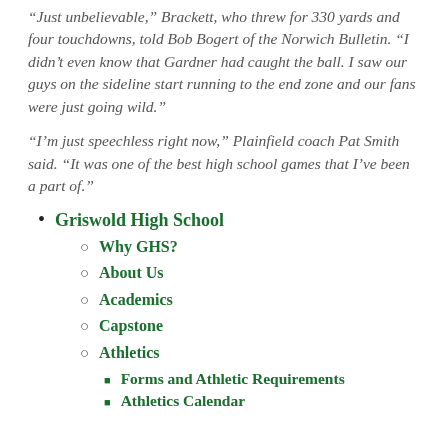“Just unbelievable,” Brackett, who threw for 330 yards and four touchdowns, told Bob Bogert of the Norwich Bulletin. “I didn’t even know that Gardner had caught the ball. I saw our guys on the sideline start running to the end zone and our fans were just going wild.”
“I’m just speechless right now,” Plainfield coach Pat Smith said. “It was one of the best high school games that I’ve been a part of.”
Griswold High School
Why GHS?
About Us
Academics
Capstone
Athletics
Forms and Athletic Requirements
Athletics Calendar